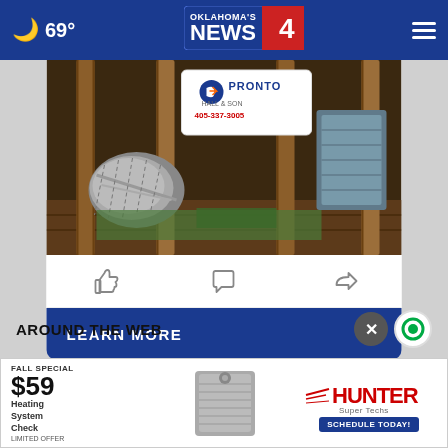69° Oklahoma's News 4
[Figure (photo): Photo of attic/crawl space showing HVAC ductwork and Pronto company sign with phone number 405-337-3005]
LEARN MORE ▶
AROUND THE WEB
[Figure (photo): Advertisement: Fall Special $59 Heating System Check Limited Offer - Hunter Super Techs - Schedule Today!]